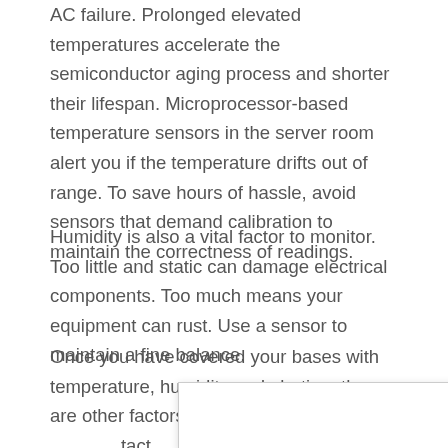AC failure. Prolonged elevated temperatures accelerate the semiconductor aging process and shorter their lifespan. Microprocessor-based temperature sensors in the server room alert you if the temperature drifts out of range. To save hours of hassle, avoid sensors that demand calibration to maintain the correctness of readings.
Humidity is also a vital factor to monitor. Too little and static can damage electrical components. Too much means your equipment can rust. Use a sensor to maintain a fine balance.
Once you have covered your bases with temperature, humidity and alerting, there are other factors to look into to make yo... tact, for exam... es when